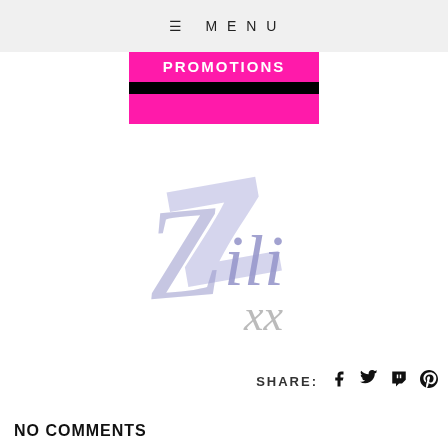≡ MENU
[Figure (logo): PROMOTIONS banner with pink background, bold white text, black bar, and pink bar below]
[Figure (logo): Zili xx script logo in periwinkle/lavender and grey colors]
SHARE:
NO COMMENTS